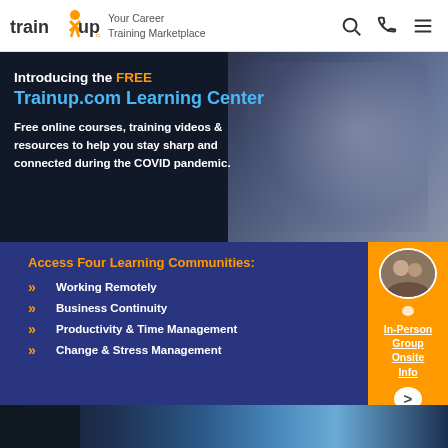[Figure (logo): TrainUp.com logo with orange figure and tagline 'Your Career Training Marketplace']
[Figure (screenshot): Banner promoting free TrainUp.com Learning Center with text overlay and woman using laptop in background]
[Figure (infographic): Dark blue section listing four learning communities: Working Remotely, Business Continuity, Productivity & Time Management, Change & Stress Management. Orange sidebar with group photo and In-Person Group Onsite Info link.]
ITIL® 2011 Edition Intermediate Level Operational Support & Analysis (OSA) Part 3
[Figure (photo): Bottom strip showing partial photo of person and blue technology/data background]